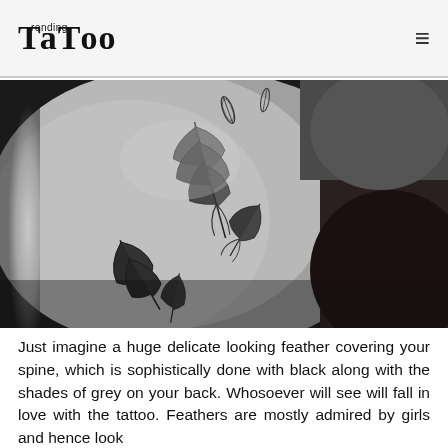Trending Tattoo
[Figure (photo): Black and white close-up photograph of a tattoo on someone's back/side showing multiple detailed feathers scattered in a falling pattern, done in black and grey ink.]
Just imagine a huge delicate looking feather covering your spine, which is sophistically done with black along with the shades of grey on your back. Whosoever will see will fall in love with the tattoo. Feathers are mostly admired by girls and hence look